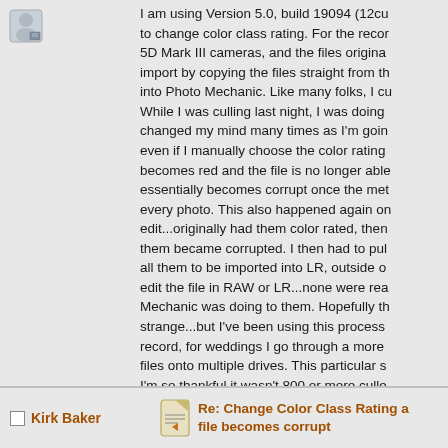I am using Version 5.0, build 19094 (12c... to change color class rating. For the record, 5D Mark III cameras, and the files origina... import by copying the files straight from th... into Photo Mechanic. Like many folks, I cu... While I was culling last night, I was doing... changed my mind many times as I'm goin... even if I manually choose the color rating... becomes red and the file is no longer able... essentially becomes corrupt once the met... every photo. This also happened again o... edit...originally had them color rated, then... them became corrupted. I then had to pul... all them to be imported into LR, outside o... edit the file in RAW or LR...none were rea... Mechanic was doing to them. Hopefully th... strange...but I've been using this process... record, for weddings I go through a more... files onto multiple drives. This particular s... I'm so thankful it wasn't 800 or more culle... of about 90 photos, 18-20 of which becan... again from SD into the folder to import to
Kirk Baker
Re: Change Color Class Rating a... file becomes corrupt